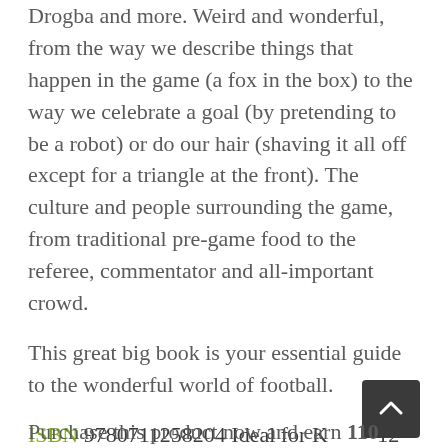Drogba and more. Weird and wonderful, from the way we describe things that happen in the game (a fox in the box) to the way we celebrate a goal (by pretending to be a robot) or do our hair (shaving it all off except for a triangle at the front). The culture and people surrounding the game, from traditional pre-game food to the referee, commentator and all-important crowd.
This great big book is your essential guide to the wonderful world of football.
ISBN 9780711258204 Ideal for Kids 8-12
Purchase this product now and earn 110